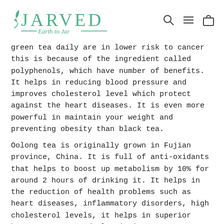JARVED Earth to Jar [logo with navigation icons]
green tea daily are in lower risk to cancer this is because of the ingredient called polyphenols, which have number of benefits. It helps in reducing blood pressure and improves cholesterol level which protect against the heart diseases. It is even more powerful in maintain your weight and preventing obesity than black tea.
Oolong tea is originally grown in Fujian province, China. It is full of anti-oxidants that helps to boost up metabolism by 10% for around 2 hours of drinking it. It helps in the reduction of health problems such as heart diseases, inflammatory disorders, high cholesterol levels, it helps in superior bone structure and also it is very beneficial for dental health. Despite its caffeine content it is a very relaxing drink. This tea also has anti-cancer properties and is also helpful in the skin problems. Helps in managing blood